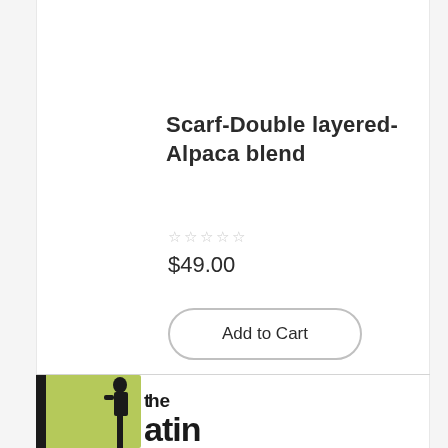Scarf-Double layered-Alpaca blend
☆☆☆☆☆
$49.00
Add to Cart
[Figure (logo): Logo with green background rectangle, black silhouette figure, and text reading 'the atin']